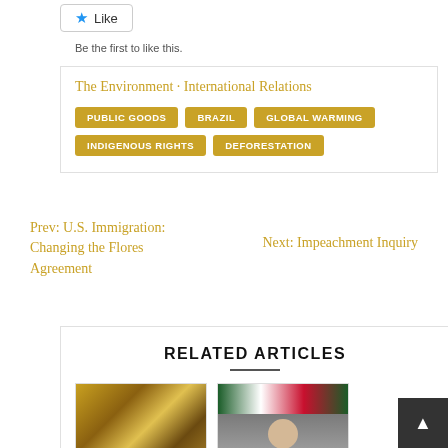[Figure (other): Like button with star icon]
Be the first to like this.
The Environment · International Relations
PUBLIC GOODS   BRAZIL   GLOBAL WARMING   INDIGENOUS RIGHTS   DEFORESTATION
Prev: U.S. Immigration: Changing the Flores Agreement
Next: Impeachment Inquiry
RELATED ARTICLES
[Figure (photo): Photo of money/currency bills]
[Figure (photo): Photo of a person in front of Iranian flag]